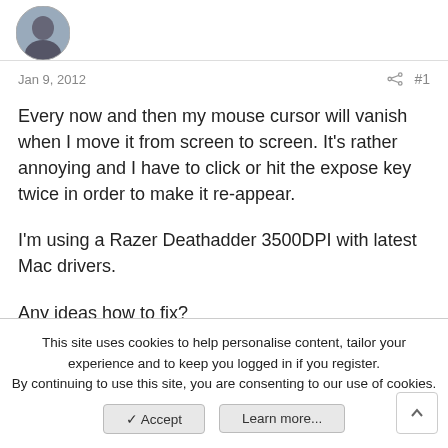[Figure (photo): User avatar - circular profile photo of a person]
Jan 9, 2012
#1
Every now and then my mouse cursor will vanish when I move it from screen to screen. It's rather annoying and I have to click or hit the expose key twice in order to make it re-appear.

I'm using a Razer Deathadder 3500DPI with latest Mac drivers.

Any ideas how to fix?
Thanks
This site uses cookies to help personalise content, tailor your experience and to keep you logged in if you register.
By continuing to use this site, you are consenting to our use of cookies.
✓ Accept
Learn more...